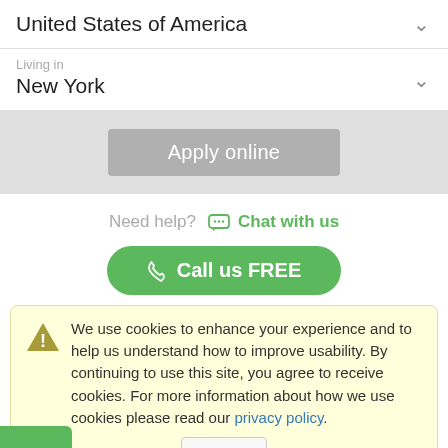United States of America
Living in
New York
Apply online
Need help?  Chat with us
Call us FREE
We use cookies to enhance your experience and to help us understand how to improve usability. By continuing to use this site, you agree to receive cookies. For more information about how we use cookies please read our privacy policy.
OK